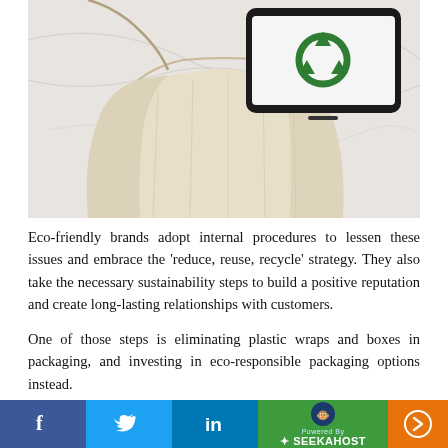[Figure (photo): A cream/natural cotton drawstring bag on a white marble surface, next to a smartphone displaying a green recycling symbol on its screen.]
Eco-friendly brands adopt internal procedures to lessen these issues and embrace the ‘reduce, reuse, recycle’ strategy. They also take the necessary sustainability steps to build a positive reputation and create long-lasting relationships with customers.
One of those steps is eliminating plastic wraps and boxes in packaging, and investing in eco-responsible packaging options instead.
[Figure (infographic): Social media share bar with Facebook, Twitter, LinkedIn buttons, a SeekaHost branding section, and a forward arrow button.]